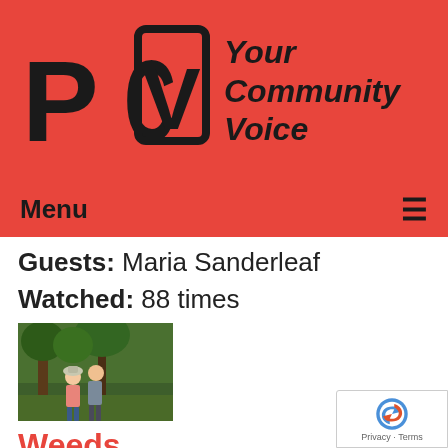[Figure (logo): PCTV logo with text 'Your Community Voice' on red background]
Menu ≡
Guests: Maria Sanderleaf
Watched: 88 times
[Figure (photo): Two people standing outdoors among trees and plants]
Weeds
Airdate: 07/04/2022
Watched: 50 times